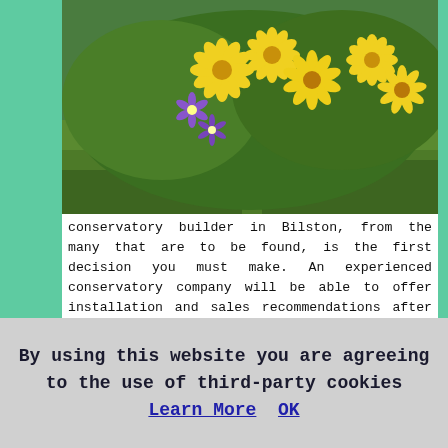[Figure (photo): A photograph of yellow daisies and purple flowers in a garden with green grass in the background.]
conservatory builder in Bilston, from the many that are to be found, is the first decision you must make. An experienced conservatory company will be able to offer installation and sales recommendations after conducting an on-site survey of your property. Your particular conservatory may not need any local authority planning permission but your conservatory installer will be able to advise, and check any requirements unique to your property and area. The majority of conservatories that are no longer that thirty feet in length require no planning permission, though if your property is in a protected area or has got listed status, this will need to be checked out before any installation work can commence.
The design of your chosen conservatory is down to your personal taste, but there are five or six popular styles to think about:
By using this website you are agreeing to the use of third-party cookies Learn More  OK